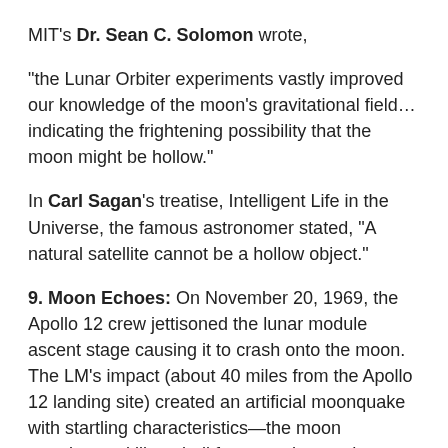MIT's Dr. Sean C. Solomon wrote,
“the Lunar Orbiter experiments vastly improved our knowledge of the moon’s gravitational field… indicating the frightening possibility that the moon might be hollow.”
In Carl Sagan’s treatise, Intelligent Life in the Universe, the famous astronomer stated, “A natural satellite cannot be a hollow object.”
9. Moon Echoes: On November 20, 1969, the Apollo 12 crew jettisoned the lunar module ascent stage causing it to crash onto the moon. The LM’s impact (about 40 miles from the Apollo 12 landing site) created an artificial moonquake with startling characteristics—the moon reverberated like a bell for more than an hour.